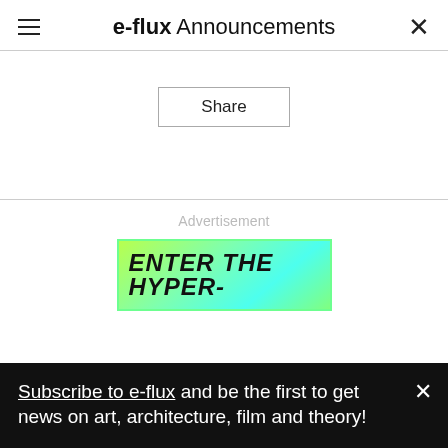e-flux Announcements
Share
Advertisement
[Figure (illustration): Advertisement banner with bright green/cyan gradient background showing bold italic text 'ENTER THE HYPER-']
Subscribe to e-flux and be the first to get news on art, architecture, film and theory!